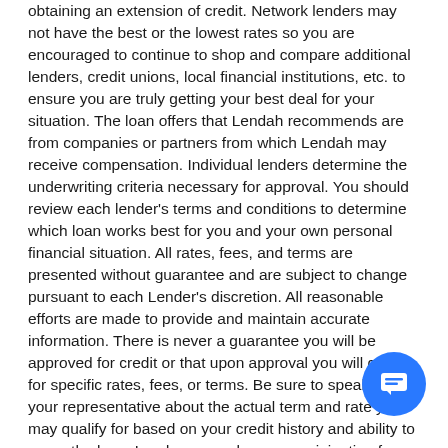obtaining an extension of credit. Network lenders may not have the best or the lowest rates so you are encouraged to continue to shop and compare additional lenders, credit unions, local financial institutions, etc. to ensure you are truly getting your best deal for your situation. The loan offers that Lendah recommends are from companies or partners from which Lendah may receive compensation. Individual lenders determine the underwriting criteria necessary for approval. You should review each lender's terms and conditions to determine which loan works best for you and your own personal financial situation. All rates, fees, and terms are presented without guarantee and are subject to change pursuant to each Lender's discretion. All reasonable efforts are made to provide and maintain accurate information. There is never a guarantee you will be approved for credit or that upon approval you will qualify for specific rates, fees, or terms. Be sure to speak with your representative about the actual term and rate you may qualify for based on your credit history and ability to repay the loan. Lenders may charge an origination fee generally around 1% of the amount sought. Be sure to ask up front about all fees, costs and terms associated with each loan product. Loan amounts of $1,000 up to $35,000 may be available through participating lenders; however, your state, credit history, credit score, personal financial situation, and lender underwriting criteria can impact amount, fees, terms and rates offered. In some cases, lenders may require that you have an account with them already and for a prescribed period of time in order to
[Figure (other): Blue circular chat/message button in the bottom right corner of the page]